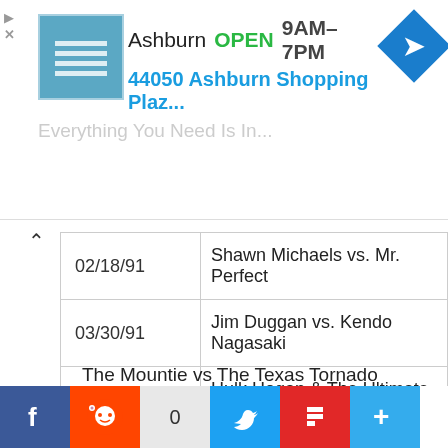[Figure (other): Advertisement banner: Ashburn store location - OPEN 9AM-7PM, 44050 Ashburn Shopping Plaz..., with store icon and navigation arrow]
| Date | Match |
| --- | --- |
| 02/18/91 | Shawn Michaels vs. Mr. Perfect |
| 03/30/91 | Jim Duggan vs. Kendo Nagasaki |
| 03/26/91 | Hulk Hogan & The Ultimate Warrior vs. Th |
Battle at The Royal Albert Hall*
(Dated: 10/03/1991 – Duration: 02:40:32)
The Nasty Boys vs The Rockers
Ric Flair vs Tito Santana
Earthquake vs Big Boss Man
The Mountie vs The Texas Tornado